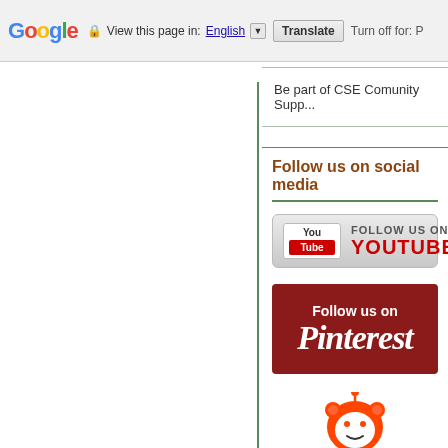[Figure (screenshot): Google Translate toolbar at top of browser showing 'View this page in: English [dropdown] Translate | Turn off for: P...']
Be part of CSE Comunity Supp...
Follow us on social media
[Figure (logo): YouTube button: Follow us on YouTube]
[Figure (logo): Pinterest button: Follow us on Pinterest]
[Figure (illustration): Reddit alien mascot (Snoo) visible at bottom right]